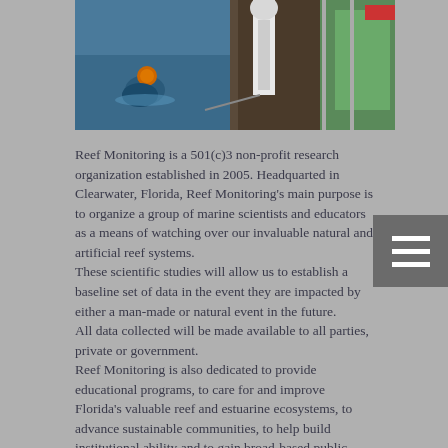[Figure (photo): Photograph showing a scuba diver in the water next to a research vessel with equipment, and kayaks visible on the right side of the boat.]
Reef Monitoring is a 501(c)3 non-profit research organization established in 2005. Headquarted in Clearwater, Florida, Reef Monitoring's main purpose is to organize a group of marine scientists and educators as a means of watching over our invaluable natural and artificial reef systems.
These scientific studies will allow us to establish a baseline set of data in the event they are impacted by either a man-made or natural event in the future.
All data collected will be made available to all parties, private or government.
Reef Monitoring is also dedicated to provide educational programs, to care for and improve Florida's valuable reef and estuarine ecosystems, to advance sustainable communities, to help build institutional ability and to gain broad-based public support for on-